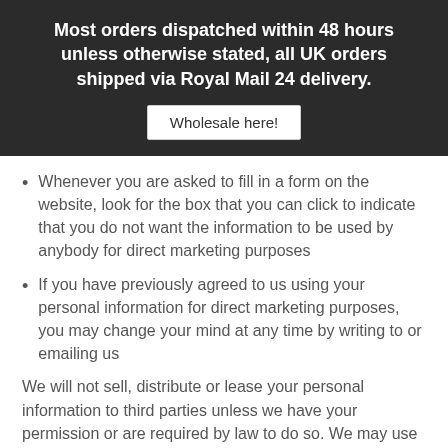Most orders dispatched within 48 hours unless otherwise stated, all UK orders shipped via Royal Mail 24 delivery.
Wholesale here!
Whenever you are asked to fill in a form on the website, look for the box that you can click to indicate that you do not want the information to be used by anybody for direct marketing purposes
If you have previously agreed to us using your personal information for direct marketing purposes, you may change your mind at any time by writing to or emailing us
We will not sell, distribute or lease your personal information to third parties unless we have your permission or are required by law to do so. We may use your personal information to send you promotional information about third parties which we think you may